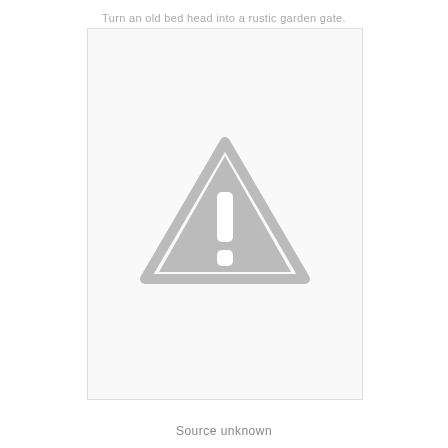Turn an old bed head into a rustic garden gate.
[Figure (photo): Image unavailable placeholder with a grey warning triangle containing an exclamation mark on a white/light grey background, inside a thin bordered rectangle.]
Source unknown